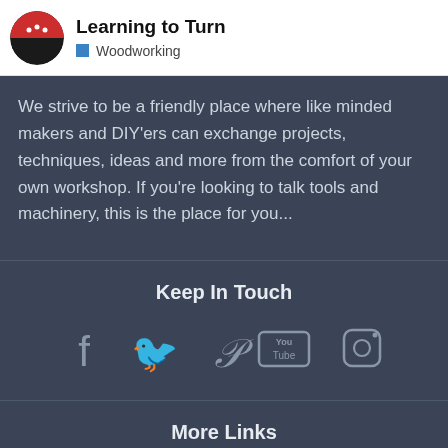Learning to Turn — Woodworking
We strive to be a friendly place where like minded makers and DIY'ers can exchange projects, techniques, ideas and more from the comfort of your own workshop. If you're looking to talk tools and machinery, this is the place for you...
Keep In Touch
[Figure (infographic): Social media icons: Facebook, Twitter, Pinterest, YouTube, Instagram]
More Links
Shop Online
My Account